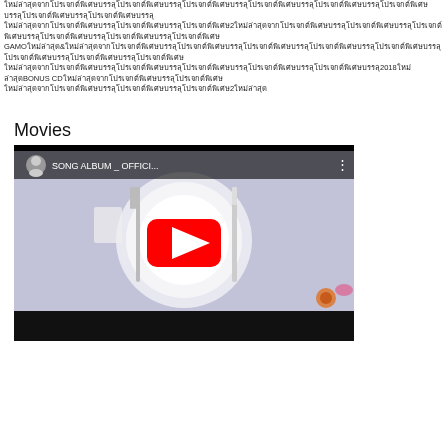ใหม่ล่าสุดจากโปรเจกต์พิเศษ รวม 2 นักร้องชั้นนำ GAMO NAOYA & สาวนักจัดการที่ต้องเผชิญกับศึกหนัก 2018 BONUS CD ฉบับพิเศษ รวม 2 แผ่น
Movies
[Figure (screenshot): YouTube video thumbnail showing a dinner plate with fork and knife, with a YouTube play button overlay. Video title reads: SONG ALBUM _ OFFICI...]